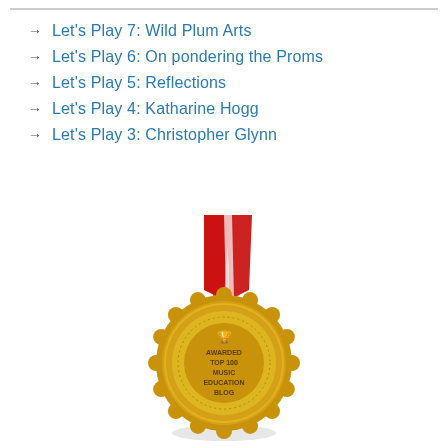→ Let's Play 7: Wild Plum Arts
→ Let's Play 6: On pondering the Proms
→ Let's Play 5: Reflections
→ Let's Play 4: Katharine Hogg
→ Let's Play 3: Christopher Glynn
[Figure (illustration): Gold medal with red and white ribbon, badge text reads: AWARDED TOP 100 MUSIC EDUCATION BLOG, with a trophy icon at top center]